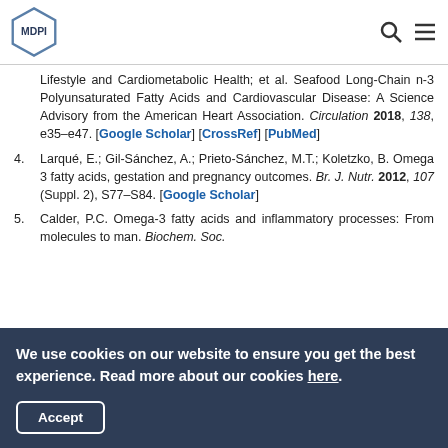MDPI logo with search and menu icons
Lifestyle and Cardiometabolic Health; et al. Seafood Long-Chain n-3 Polyunsaturated Fatty Acids and Cardiovascular Disease: A Science Advisory from the American Heart Association. Circulation 2018, 138, e35–e47. [Google Scholar] [CrossRef] [PubMed]
4. Larqué, E.; Gil-Sánchez, A.; Prieto-Sánchez, M.T.; Koletzko, B. Omega 3 fatty acids, gestation and pregnancy outcomes. Br. J. Nutr. 2012, 107 (Suppl. 2), S77–S84. [Google Scholar]
5. Calder, P.C. Omega-3 fatty acids and inflammatory processes: From molecules to man. Biochem. Soc.
We use cookies on our website to ensure you get the best experience. Read more about our cookies here. Accept